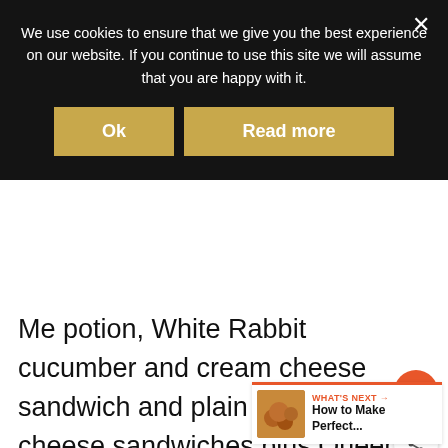We use cookies to ensure that we give you the best experience on our website. If you continue to use this site we will assume that you are happy with it.
Me potion, White Rabbit cucumber and cream cheese sandwich and plain ham or cheese sandwiches plus Queen of Hearts rose and strawberry Jammy Dodger, mocha chessboard gateau Tweedle Dee lemon curd fancie, Mad March Hare vanilla pocket watch macaroon, Chocolate and pistachio Blue Caterpillar, Mad Hatters lost carrot and fennel meringue and Sanderson's warm scones served with clotted cream and fruit preserve.